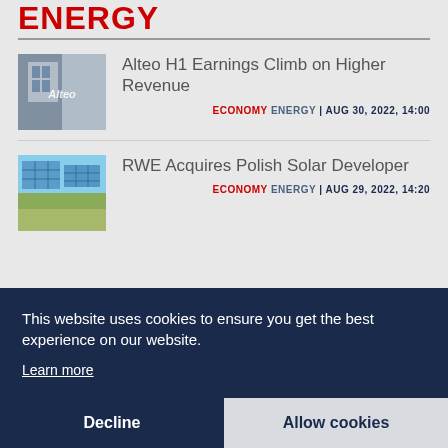ENERGY
[Figure (photo): Building exterior with Alteo logo sign]
Alteo H1 Earnings Climb on Higher Revenue
ECONOMY ENERGY | AUG 30, 2022, 14:00
[Figure (photo): Solar panels against blue sky]
RWE Acquires Polish Solar Developer
ECONOMY ENERGY | AUG 29, 2022, 14:20
This website uses cookies to ensure you get the best experience on our website.
Learn more
Decline
Allow cookies